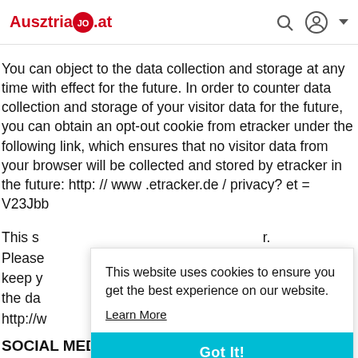[Figure (logo): AusztriaJOB.at logo with red circle containing 'JOB' text, plus search icon and account icon in header]
You can object to the data collection and storage at any time with effect for the future. In order to counter data collection and storage of your visitor data for the future, you can obtain an opt-out cookie from etracker under the following link, which ensures that no visitor data from your browser will be collected and stored by etracker in the future: http: // www .etracker.de / privacy? et = V23Jbb
This s… r.
Please…
keep y…
the da…
http://w…
This website uses cookies to ensure you get the best experience on our website.
Learn More
Got It!
SOCIAL MEDIA